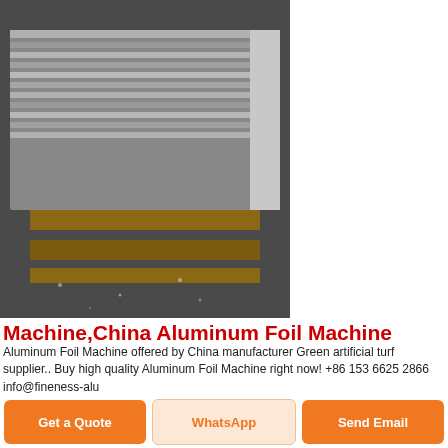[Figure (photo): Stack of aluminum sheets/plates on a wooden pallet, photographed on a dark concrete floor with scattered debris.]
Machine,China Aluminum Foil Machine
Aluminum Foil Machine offered by China manufacturer Green artificial turf supplier.. Buy high quality Aluminum Foil Machine right now! +86 153 6625 2866 info@fineness-alu
Contact Us
[Figure (photo): Industrial aluminum recoil machine equipment inside a factory, wrapped in plastic sheeting.]
Aluminum Recoil Machine
Get a Quote
WhatsApp
Send Email